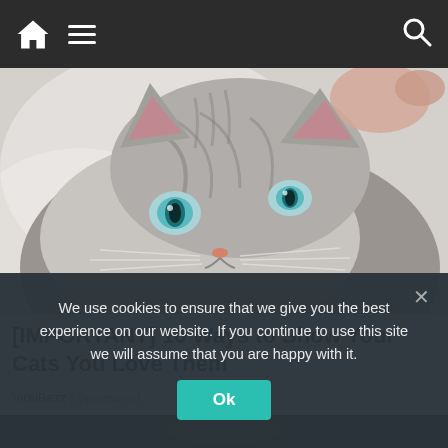Navigation bar with home, menu, and search icons
[Figure (photo): Close-up photo of a silver tabby cat with striking blue eyes being petted by a human hand]
[IMPORTANT] 10 Ways to Show Your Cats You Love Them
ViralBezz | Sponsored
[Figure (photo): Partial view of a second image below, showing a dark/blurred background with what appears to be braided hair or similar texture]
We use cookies to ensure that we give you the best experience on our website. If you continue to use this site we will assume that you are happy with it.